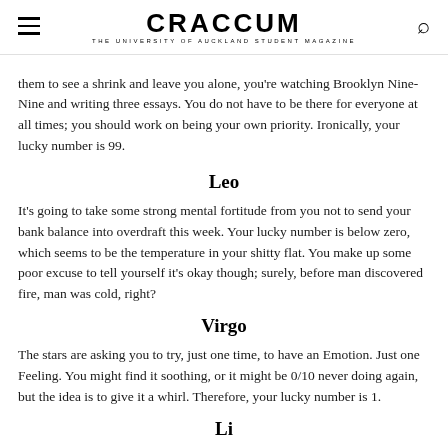CRACCUM — THE UNIVERSITY OF AUCKLAND STUDENT MAGAZINE
them to see a shrink and leave you alone, you're watching Brooklyn Nine-Nine and writing three essays. You do not have to be there for everyone at all times; you should work on being your own priority. Ironically, your lucky number is 99.
Leo
It's going to take some strong mental fortitude from you not to send your bank balance into overdraft this week. Your lucky number is below zero, which seems to be the temperature in your shitty flat. You make up some poor excuse to tell yourself it's okay though; surely, before man discovered fire, man was cold, right?
Virgo
The stars are asking you to try, just one time, to have an Emotion. Just one Feeling. You might find it soothing, or it might be 0/10 never doing again, but the idea is to give it a whirl. Therefore, your lucky number is 1.
Li…